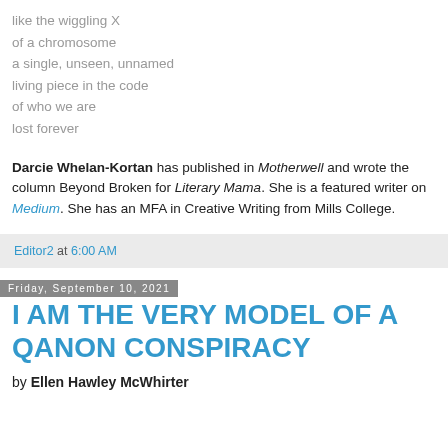like the wiggling X
of a chromosome
a single, unseen, unnamed
living piece in the code
of who we are
lost forever
Darcie Whelan-Kortan has published in Motherwell and wrote the column Beyond Broken for Literary Mama. She is a featured writer on Medium. She has an MFA in Creative Writing from Mills College.
Editor2 at 6:00 AM
Friday, September 10, 2021
I AM THE VERY MODEL OF A QANON CONSPIRACY
by Ellen Hawley McWhirter